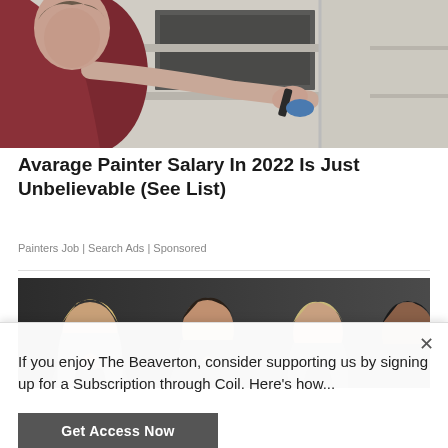[Figure (photo): Man in dark red shirt applying material or painting a concrete block wall using a tool]
Avarage Painter Salary In 2022 Is Just Unbelievable (See List)
Painters Job | Search Ads | Sponsored
[Figure (photo): Four people posing against a dark grey background — two women and two men]
If you enjoy The Beaverton, consider supporting us by signing up for a Subscription through Coil. Here's how...
Get Access Now